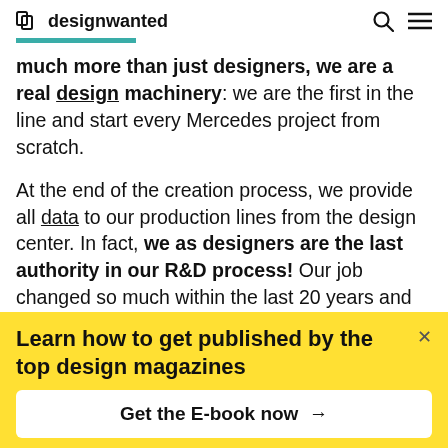designwanted
much more than just designers, we are a real design machinery: we are the first in the line and start every Mercedes project from scratch.
At the end of the creation process, we provide all data to our production lines from the design center. In fact, we as designers are the last authority in our R&D process! Our job changed so much within the last 20 years and we gained so many interfaces with R&D teams and our marketing teams that we
Learn how to get published by the top design magazines
Get the E-book now →